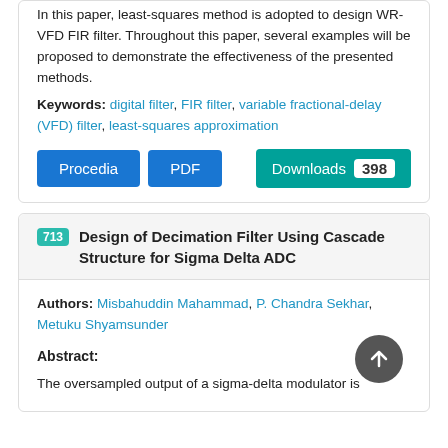In this paper, least-squares method is adopted to design WR-VFD FIR filter. Throughout this paper, several examples will be proposed to demonstrate the effectiveness of the presented methods.
Keywords: digital filter, FIR filter, variable fractional-delay (VFD) filter, least-squares approximation
Procedia  PDF  Downloads 398
713 Design of Decimation Filter Using Cascade Structure for Sigma Delta ADC
Authors: Misbahuddin Mahammad, P. Chandra Sekhar, Metuku Shyamsunder
Abstract:
The oversampled output of a sigma-delta modulator is